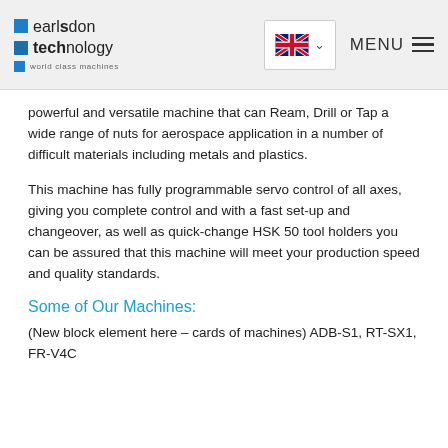earlsdon technology — world class machines | MENU
powerful and versatile machine that can Ream, Drill or Tap a wide range of nuts for aerospace application in a number of difficult materials including metals and plastics.
This machine has fully programmable servo control of all axes, giving you complete control and with a fast set-up and changeover, as well as quick-change HSK 50 tool holders you can be assured that this machine will meet your production speed and quality standards.
Some of Our Machines:
(New block element here – cards of machines) ADB-S1, RT-SX1, FR-V4C